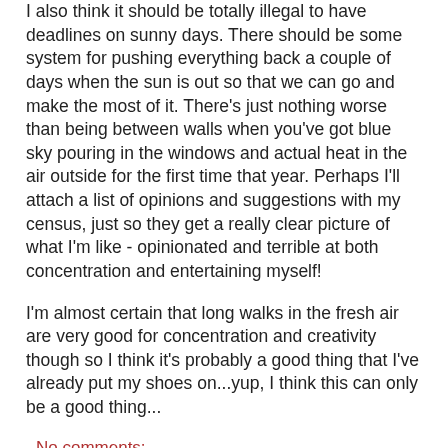I also think it should be totally illegal to have deadlines on sunny days. There should be some system for pushing everything back a couple of days when the sun is out so that we can go and make the most of it. There's just nothing worse than being between walls when you've got blue sky pouring in the windows and actual heat in the air outside for the first time that year. Perhaps I'll attach a list of opinions and suggestions with my census, just so they get a really clear picture of what I'm like - opinionated and terrible at both concentration and entertaining myself!
I'm almost certain that long walks in the fresh air are very good for concentration and creativity though so I think it's probably a good thing that I've already put my shoes on...yup, I think this can only be a good thing...
No comments:
Share
Saturday, March 26, 2011
Black Hard